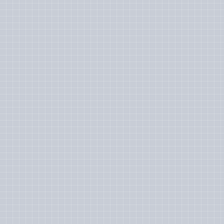[Figure (illustration): Left panel with grey linen-textured background taking up approximately 60% of the page width]
Self-host a Ghost Blog With Traefik
Ghost is a very popular open-source content management system. Started as an alternative to WordPress and it went on to become an alternative to Substack by focusing on membership and newsletter. The creators of Ghost offer managed Pro